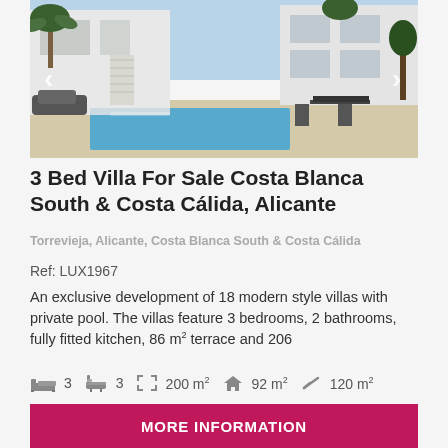[Figure (photo): Exterior rendering of a modern white villa with private pool and outdoor dining area, palm trees in background. Navigation arrows on left and right.]
3 Bed Villa For Sale Costa Blanca South & Costa Cálida, Alicante
Torrevieja, Alicante, Costa Blanca South & Costa Cálida
Ref: LUX1967
An exclusive development of 18 modern style villas with private pool. The villas feature 3 bedrooms, 2 bathrooms, fully fitted kitchen, 86 m² terrace and 206
3  3  200 m²  92 m²  120 m²
MORE INFORMATION